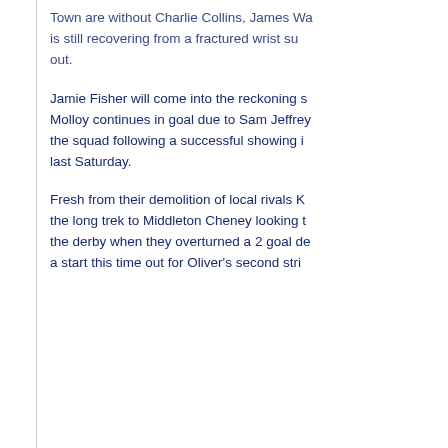Town are without Charlie Collins, James Wa... is still recovering from a fractured wrist su... out.
Jamie Fisher will come into the reckoning s... Molloy continues in goal due to Sam Jeffrey... the squad following a successful showing i... last Saturday.
Fresh from their demolition of local rivals K... the long trek to Middleton Cheney looking t... the derby when they overturned a 2 goal de... a start this time out for Oliver's second stri...